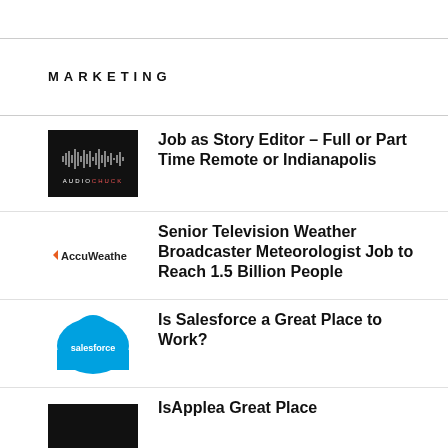MARKETING
Job as Story Editor – Full or Part Time Remote or Indianapolis
Senior Television Weather Broadcaster Meteorologist Job to Reach 1.5 Billion People
Is Salesforce a Great Place to Work?
IsApplea Great Place